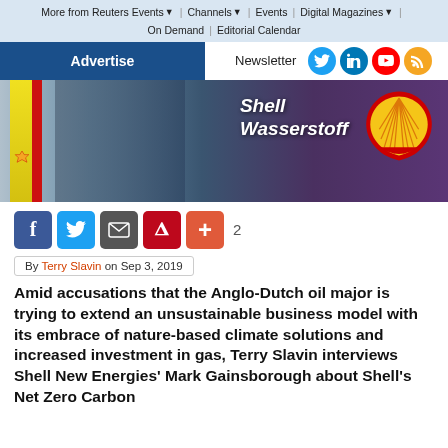More from Reuters Events | Channels | Events | Digital Magazines | On Demand | Editorial Calendar
Advertise | Newsletter
[Figure (photo): Person fueling a vehicle at a Shell hydrogen station (Shell Wasserstoff). Shell logo visible on vehicle side. Yellow and red fuel pump columns visible on left.]
[Figure (infographic): Social share buttons: Facebook, Twitter, Email, Pinterest, Plus. Share count: 2]
By Terry Slavin on Sep 3, 2019
Amid accusations that the Anglo-Dutch oil major is trying to extend an unsustainable business model with its embrace of nature-based climate solutions and increased investment in gas, Terry Slavin interviews Shell New Energies' Mark Gainsborough about Shell's Net Zero Carbon